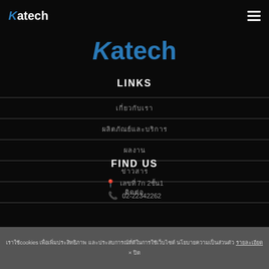Katech [logo nav]
[Figure (logo): Katech logo centered, large, in blue]
LINKS
เกี่ยวกับเรา
ผลิตภัณฑ์และบริการ
ผลงาน
ข่าวสาร
ติดต่อ
FIND US
📍 เลขที่ 7ก 2ชั้น1
📞 02-22342262
เราใช้cookies เพื่อเพิ่มประสิทธิภาพ และประสบการณ์ที่ดีในการใช้เว็บไซต์ นโยบายความเป็นส่วนตัว รายละเอียด
× ปิด